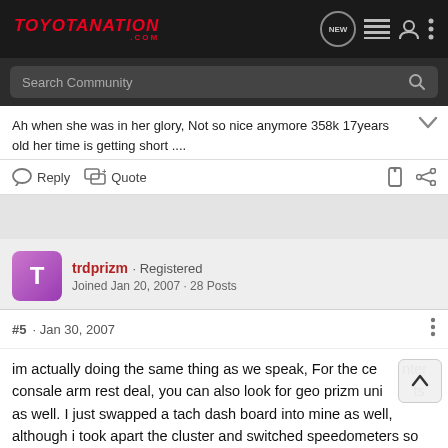TOYOTANATION .COM
Ah when she was in her glory, Not so nice anymore 358k 17years old her time is getting short ....
Reply  Quote
trdprizm · Registered
Joined Jan 20, 2007 · 28 Posts
#5 · Jan 30, 2007
im actually doing the same thing as we speak, For the center consale arm rest deal, you can also look for geo prizm units as well. I just swapped a tach dash board into mine as well, although i took apart the cluster and switched speedometers so its still reads the correct miles, not to mention the timing belt with